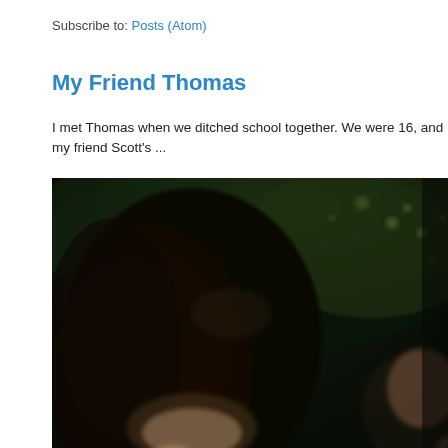Subscribe to: Posts (Atom)
My Friend Thomas
I met Thomas when we ditched school together. We were 16, and my friend Scott's ...
[Figure (photo): A dark, blurry outdoor photo showing a person with dark hair in the foreground with dark green foliage in the background. The image is low quality and dimly lit.]